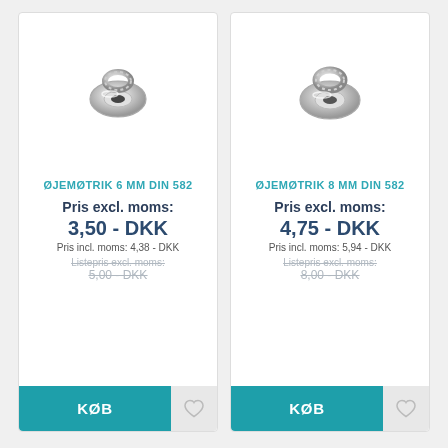[Figure (photo): Silver eye bolt / ring nut hardware item, 6mm DIN 582]
ØJEMØTRIK 6 MM DIN 582
Pris excl. moms:
3,50 - DKK
Pris incl. moms: 4,38 - DKK
Listepris excl. moms:
5,00 - DKK
[Figure (photo): Silver eye bolt / ring nut hardware item, 8mm DIN 582]
ØJEMØTRIK 8 MM DIN 582
Pris excl. moms:
4,75 - DKK
Pris incl. moms: 5,94 - DKK
Listepris excl. moms:
8,00 - DKK